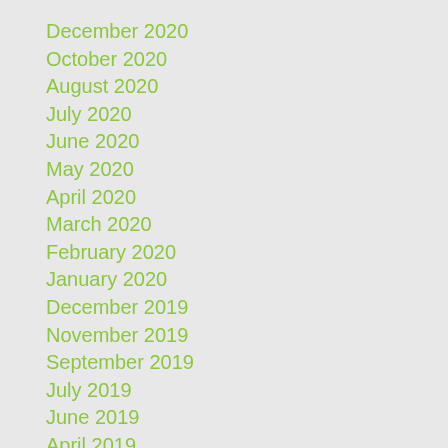December 2020
October 2020
August 2020
July 2020
June 2020
May 2020
April 2020
March 2020
February 2020
January 2020
December 2019
November 2019
September 2019
July 2019
June 2019
April 2019
March 2019
February 2019
January 2019